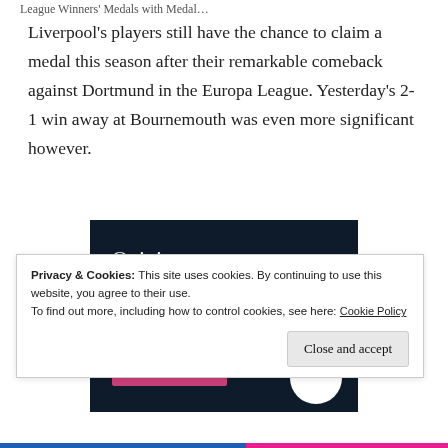League Winners' Medals with Medal…
Liverpool's players still have the chance to claim a medal this season after their remarkable comeback against Dortmund in the Europa League. Yesterday's 2-1 win away at Bournemouth was even more significant however.
[Figure (illustration): Advertisement banner with dark navy background. Text reads 'Opinions.' on first line and 'We all have them!' in bold on second line. Pink button bar and white circle at the bottom.]
Privacy & Cookies: This site uses cookies. By continuing to use this website, you agree to their use.
To find out more, including how to control cookies, see here: Cookie Policy
Close and accept